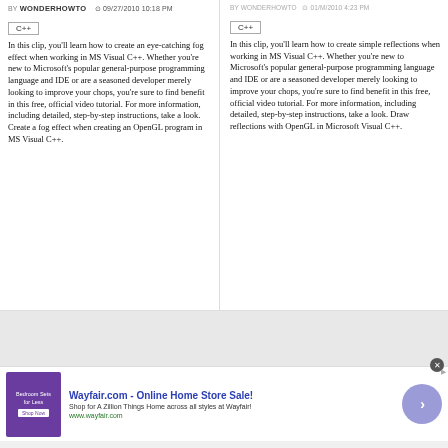BY WONDERHOWTO   09/27/2010 10:18 PM
C++
In this clip, you'll learn how to create an eye-catching fog effect when working in MS Visual C++. Whether you're new to Microsoft's popular general-purpose programming language and IDE or are a seasoned developer merely looking to improve your chops, you're sure to find benefit in this free, official video tutorial. For more information, including detailed, step-by-step instructions, take a look. Create a fog effect when creating an OpenGL program in MS Visual C++.
C++
In this clip, you'll learn how to create simple reflections when working in MS Visual C++. Whether you're new to Microsoft's popular general-purpose programming language and IDE or are a seasoned developer merely looking to improve your chops, you're sure to find benefit in this free, official video tutorial. For more information, including detailed, step-by-step instructions, take a look. Draw reflections with OpenGL in Microsoft Visual C++.
[Figure (other): Gray placeholder content area]
[Figure (other): Wayfair advertisement banner with purple bedroom image, bold blue title 'Wayfair.com - Online Home Store Sale!', subtitle 'Shop for A Zillion Things Home across all styles at Wayfair!', URL www.wayfair.com, and a purple circle arrow button]